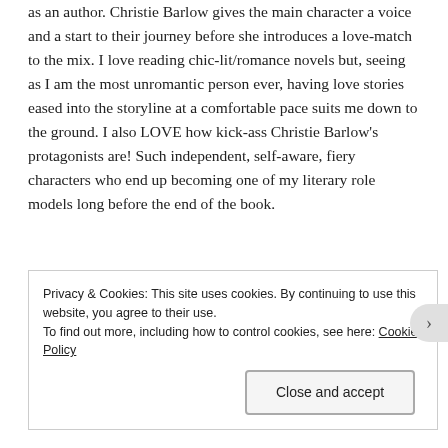as an author. Christie Barlow gives the main character a voice and a start to their journey before she introduces a love-match to the mix. I love reading chic-lit/romance novels but, seeing as I am the most unromantic person ever, having love stories eased into the storyline at a comfortable pace suits me down to the ground. I also LOVE how kick-ass Christie Barlow's protagonists are! Such independent, self-aware, fiery characters who end up becoming one of my literary role models long before the end of the book.
Privacy & Cookies: This site uses cookies. By continuing to use this website, you agree to their use.
To find out more, including how to control cookies, see here: Cookie Policy
Close and accept